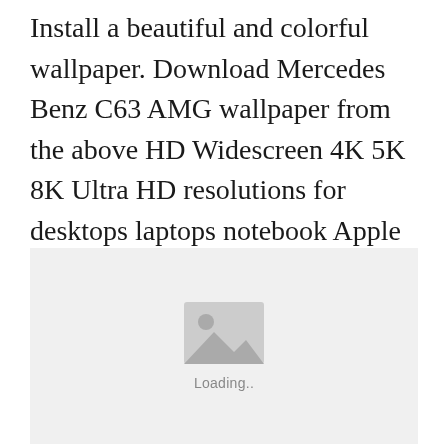Install a beautiful and colorful wallpaper. Download Mercedes Benz C63 AMG wallpaper from the above HD Widescreen 4K 5K 8K Ultra HD resolutions for desktops laptops notebook Apple iPhone iPad Android mobiles tablets.
[Figure (photo): Image loading placeholder with a grey background, a photo icon, and 'Loading..' text beneath it]